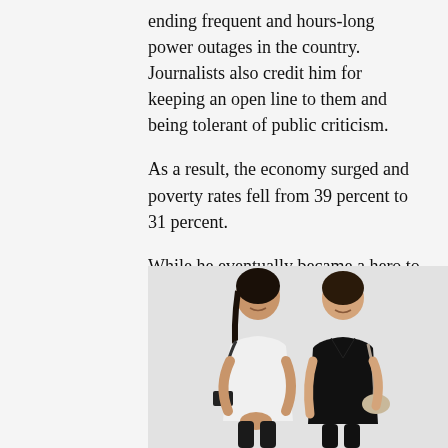ending frequent and hours-long power outages in the country. Journalists also credit him for keeping an open line to them and being tolerant of public criticism.
As a result, the economy surged and poverty rates fell from 39 percent to 31 percent.
While he eventually became a hero to many for defecting from Marcos Sr’s government, others would not forget his role in enforcing iron-fist rule during the dark years of martial law under the dictatorship.
[Figure (photo): Two women standing together. The woman on the left wears a white top with a shoulder bag and camera, the woman on the right wears all black and holds a beige bag.]